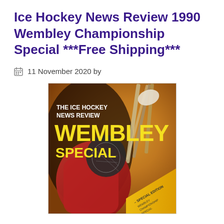Ice Hockey News Review 1990 Wembley Championship Special ***Free Shipping***
11 November 2020 by
[Figure (photo): Magazine cover of The Ice Hockey News Review Wembley Special edition. Shows a hockey player in a red jersey and helmet in action, with hockey sticks in the background. Yellow text reads 'WEMBLEY' and 'SPECIAL' on a dark background. Bottom right corner has a yellow diagonal banner with 'SPECIAL EDITION' text.]